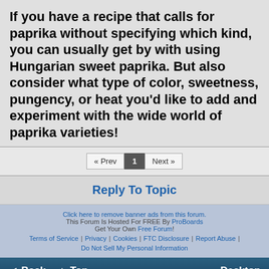If you have a recipe that calls for paprika without specifying which kind, you can usually get by with using Hungarian sweet paprika. But also consider what type of color, sweetness, pungency, or heat you'd like to add and experiment with the wide world of paprika varieties!
« Prev  1  Next »
Reply To Topic
Click here to remove banner ads from this forum. This Forum Is Hosted For FREE By ProBoards Get Your Own Free Forum! Terms of Service | Privacy | Cookies | FTC Disclosure | Report Abuse | Do Not Sell My Personal Information
◄ Back  ▲ Top  Desktop